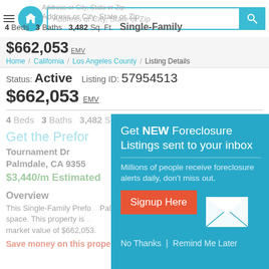Get Complete Address Palmdale, CA 93551 — Address or City, State or Zip — 4 Beds  3 Baths  3,482 Sq. Ft.  Single-Family
$662,053 EMV
Home / California / Los Angeles County / Listing Details
Status: Active   Listing ID: 57954513
$662,053 EMV
4 Beds  3 Baths  3,482 Sq. Ft.  Single-Family
Get the Prefor
Tournament Dr
Palmdale, CA 9355
$3,440/m Estimated
Overview
This Single-Family Prefo... Palmdale, CA 93551. It ... space. This property is ... market value of $662,053.
Save money on this property now.
[Figure (screenshot): Popup overlay: Get NEW Foreclosure Listings sent to your inbox. Millions of people receive foreclosure alerts daily, don't miss out. Signup Here button. No Thanks | Remind Me Later links. Envelope icon graphic.]